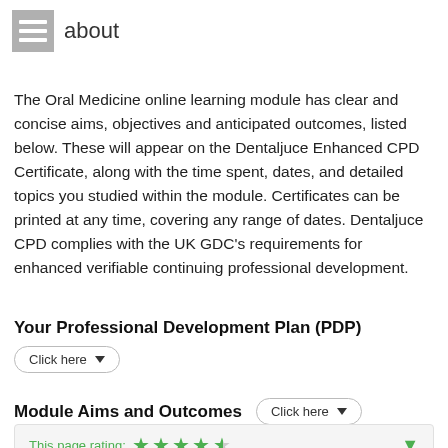about
The Oral Medicine online learning module has clear and concise aims, objectives and anticipated outcomes, listed below. These will appear on the Dentaljuce Enhanced CPD Certificate, along with the time spent, dates, and detailed topics you studied within the module. Certificates can be printed at any time, covering any range of dates. Dentaljuce CPD complies with the UK GDC's requirements for enhanced verifiable continuing professional development.
Your Professional Development Plan (PDP)
Click here
Module Aims and Outcomes
Click here
This page rating: